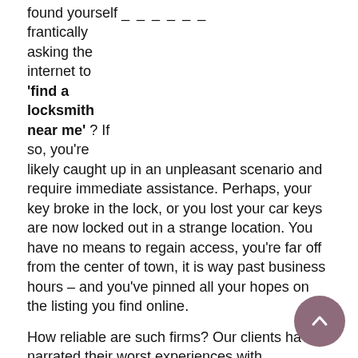found yourself _ _ _ _ _ _ _ frantically asking the internet to 'find a locksmith near me' ? If so, you're likely caught up in an unpleasant scenario and require immediate assistance. Perhaps, your key broke in the lock, or you lost your car keys are now locked out in a strange location. You have no means to regain access, you're far off from the center of town, it is way past business hours – and you've pinned all your hopes on the listing you find online.

How reliable are such firms? Our clients have narrated their worst experiences with locksmiths; including having to wait for hours, dealing with incompetent technicians who don't know their job, and those who end up charging